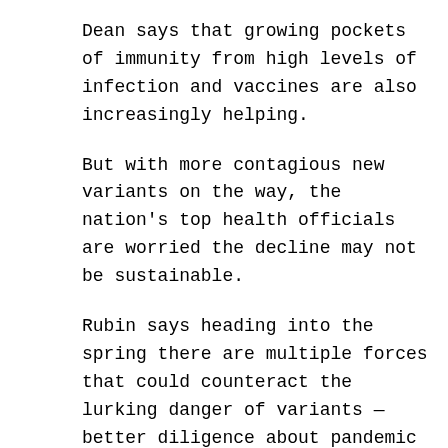Dean says that growing pockets of immunity from high levels of infection and vaccines are also increasingly helping.
But with more contagious new variants on the way, the nation's top health officials are worried the decline may not be sustainable.
Rubin says heading into the spring there are multiple forces that could counteract the lurking danger of variants — better diligence about pandemic precautions, warmer temperatures and growing immunity from both infections and vaccinations.
“There’s some optimism that if we can continue on